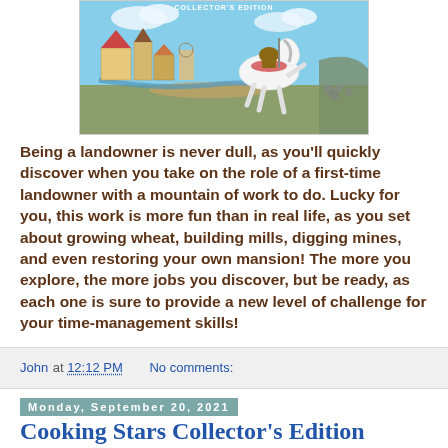[Figure (illustration): Game cover art showing a white horse rearing up with a rider, medieval village with colorful buildings in the background, blue sky with clouds. Text 'COLLECTOR'S EDITION' visible at top.]
Being a landowner is never dull, as you'll quickly discover when you take on the role of a first-time landowner with a mountain of work to do. Lucky for you, this work is more fun than in real life, as you set about growing wheat, building mills, digging mines, and even restoring your own mansion! The more you explore, the more jobs you discover, but be ready, as each one is sure to provide a new level of challenge for your time-management skills!
John at 12:12 PM    No comments:
Monday, September 20, 2021
Cooking Stars Collector's Edition